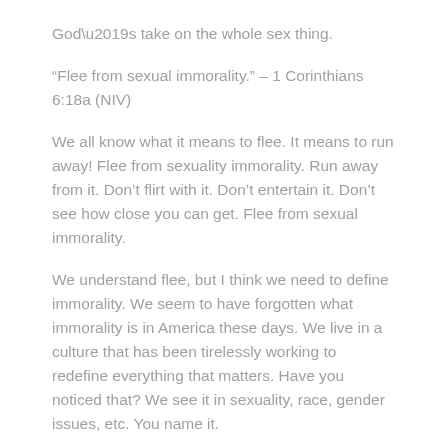God’s take on the whole sex thing.
“Flee from sexual immorality.” – 1 Corinthians 6:18a (NIV)
We all know what it means to flee. It means to run away! Flee from sexuality immorality. Run away from it. Don’t flirt with it. Don’t entertain it. Don’t see how close you can get. Flee from sexual immorality.
We understand flee, but I think we need to define immorality. We seem to have forgotten what immorality is in America these days. We live in a culture that has been tirelessly working to redefine everything that matters. Have you noticed that? We see it in sexuality, race, gender issues, etc. You name it.